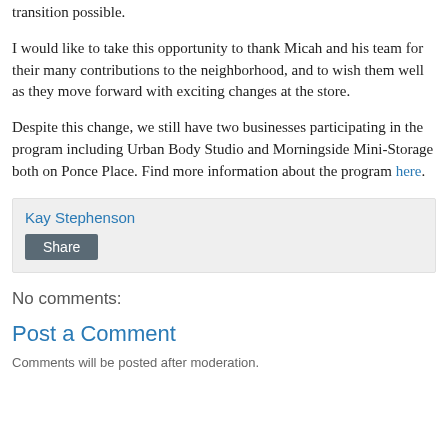transition possible.
I would like to take this opportunity to thank Micah and his team for their many contributions to the neighborhood, and to wish them well as they move forward with exciting changes at the store.
Despite this change, we still have two businesses participating in the program including Urban Body Studio and Morningside Mini-Storage both on Ponce Place. Find more information about the program here.
Kay Stephenson
Share
No comments:
Post a Comment
Comments will be posted after moderation.